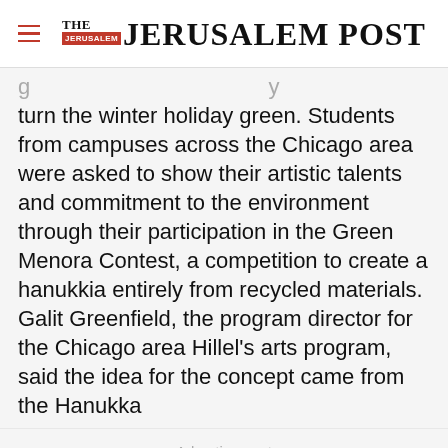THE JERUSALEM POST
turn the winter holiday green. Students from campuses across the Chicago area were asked to show their artistic talents and commitment to the environment through their participation in the Green Menora Contest, a competition to create a hanukkia entirely from recycled materials. Galit Greenfield, the program director for the Chicago area Hillel's arts program, said the idea for the concept came from the Hanukka
Advertisement